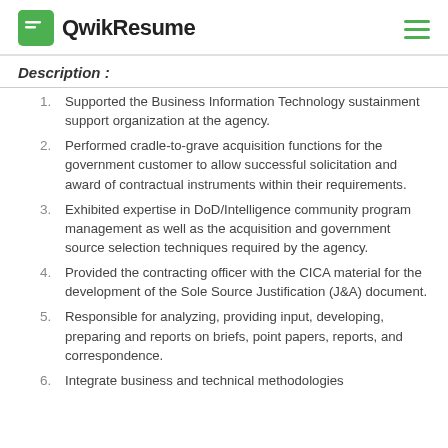QwikResume
Description :
Supported the Business Information Technology sustainment support organization at the agency.
Performed cradle-to-grave acquisition functions for the government customer to allow successful solicitation and award of contractual instruments within their requirements.
Exhibited expertise in DoD/Intelligence community program management as well as the acquisition and government source selection techniques required by the agency.
Provided the contracting officer with the CICA material for the development of the Sole Source Justification (J&A) document.
Responsible for analyzing, providing input, developing, preparing and reports on briefs, point papers, reports, and correspondence.
Integrate business and technical methodologies